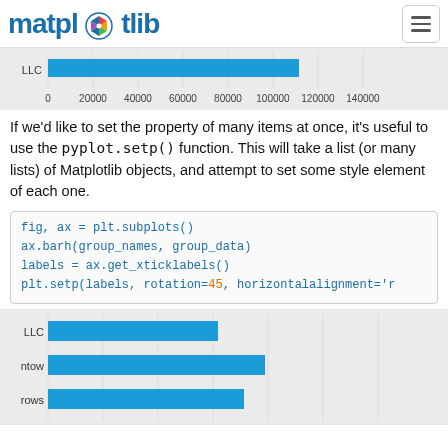matplotlib
[Figure (bar-chart): Partial horizontal bar chart showing a bar labeled 'LLC' extending to approximately 95000 on x-axis from 0 to 140000]
If we'd like to set the property of many items at once, it's useful to use the pyplot.setp() function. This will take a list (or many lists) of Matplotlib objects, and attempt to set some style element of each one.
fig, ax = plt.subplots()
ax.barh(group_names, group_data)
labels = ax.get_xticklabels()
plt.setp(labels, rotation=45, horizontalalignment='r
[Figure (bar-chart): Partial horizontal bar chart showing three visible bars: LLC (~72000), ntow (~92000), rows (~83000)]